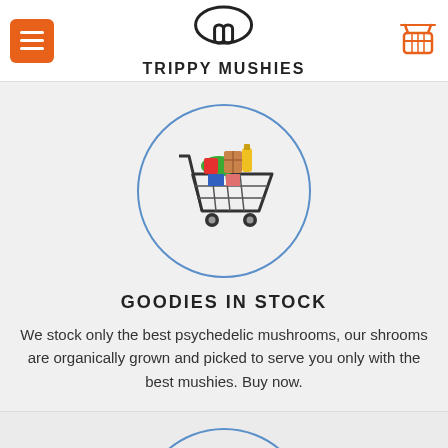TRIPPY MUSHIES
[Figure (illustration): Shopping cart filled with colorful groceries inside a blue circle]
GOODIES IN STOCK
We stock only the best psychedelic mushrooms, our shrooms are organically grown and picked to serve you only with the best mushies. Buy now.
[Figure (illustration): Delivery truck with shield/checkmark icon inside a blue circle, partially visible]